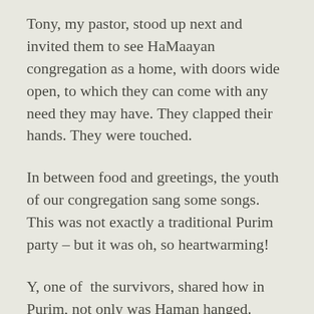Tony, my pastor, stood up next and invited them to see HaMaayan congregation as a home, with doors wide open, to which they can come with any need they may have. They clapped their hands. They were touched.
In between food and greetings, the youth of our congregation sang some songs. This was not exactly a traditional Purim party – but it was oh, so heartwarming!
Y, one of  the survivors, shared how in Purim, not only was Haman hanged. Apparently, in 1953, Stalin (a modern-day Haman), suffered a stroke and died, after issuing a decree to gather all of Russia's Jews and send them to their